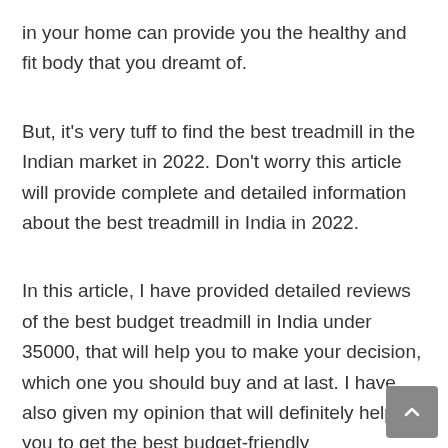in your home can provide you the healthy and fit body that you dreamt of.
But, it's very tuff to find the best treadmill in the Indian market in 2022. Don't worry this article will provide complete and detailed information about the best treadmill in India in 2022.
In this article, I have provided detailed reviews of the best budget treadmill in India under 35000, that will help you to make your decision, which one you should buy and at last. I have also given my opinion that will definitely help you to get the best budget-friendly